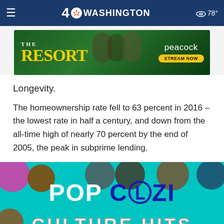≡  4 NBC WASHINGTON  ☁ 78°
[Figure (screenshot): Advertisement banner for 'The Resort' on Peacock streaming service with a 'Stream Now' button]
Longevity.
The homeownership rate fell to 63 percent in 2016 – the lowest rate in half a century, and down from the all-time high of nearly 70 percent by the end of 2005, the peak in subprime lending.
[Figure (screenshot): Promotional banner for Pop Cozi TV showing 'POP COZI TV' logo and 'CULTURE HITS' text on teal background with TV show cast members' faces]